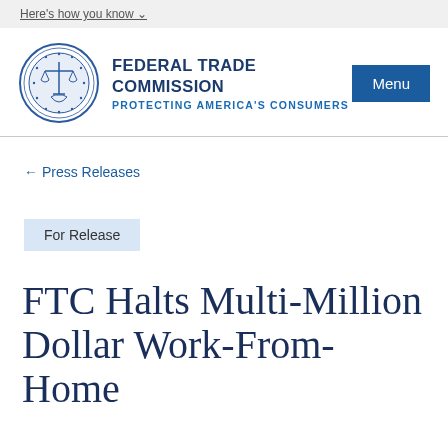Here's how you know
[Figure (logo): Federal Trade Commission official seal, circular blue emblem with scales of justice]
FEDERAL TRADE COMMISSION
PROTECTING AMERICA'S CONSUMERS
Menu
← Press Releases
For Release
FTC Halts Multi-Million Dollar Work-From-Home